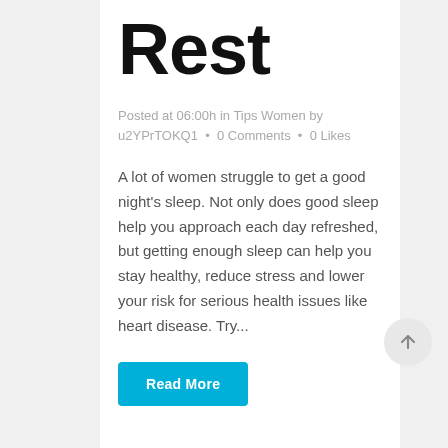Rest
Posted at 06:00h in Tips Women by u2YPrTOKQ1  •  0 Comments  •  0 Likes
A lot of women struggle to get a good night's sleep. Not only does good sleep help you approach each day refreshed, but getting enough sleep can help you stay healthy, reduce stress and lower your risk for serious health issues like heart disease. Try...
Read More